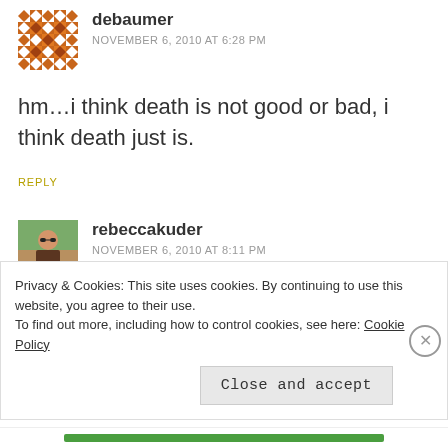[Figure (illustration): Mosaic/quilt pattern avatar for user debaumer]
debaumer
NOVEMBER 6, 2010 AT 6:28 PM
hm…i think death is not good or bad, i think death just is.
REPLY
[Figure (photo): Photo avatar of rebeccakuder, a woman with sunglasses outdoors]
rebeccakuder
NOVEMBER 6, 2010 AT 8:11 PM
It sure is. ;)
Privacy & Cookies: This site uses cookies. By continuing to use this website, you agree to their use.
To find out more, including how to control cookies, see here: Cookie Policy
Close and accept